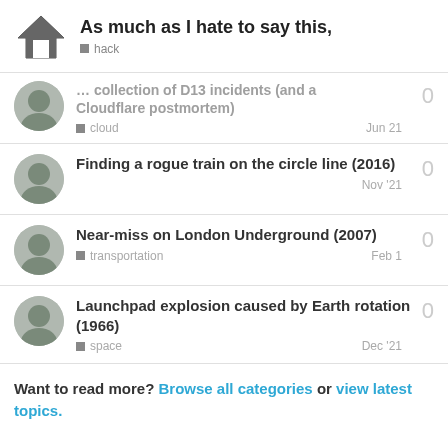As much as I hate to say this, | hack
… collection of D13 incidents (and a Cloudflare postmortem) | cloud | Jun 21 | 0
Finding a rogue train on the circle line (2016) | Nov '21 | 0
Near-miss on London Underground (2007) | transportation | Feb 1 | 0
Launchpad explosion caused by Earth rotation (1966) | space | Dec '21 | 0
Want to read more? Browse all categories or view latest topics.